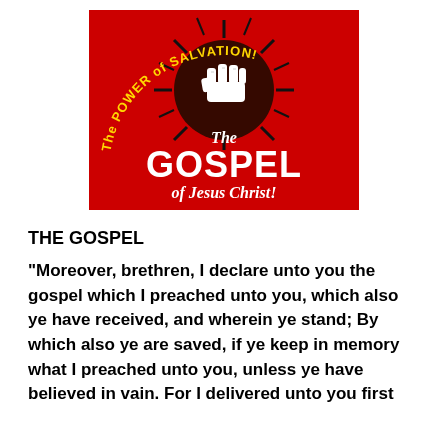[Figure (illustration): Red rectangular graphic with arched yellow text reading 'The POWER of SALVATION!' at the top, a white fist with explosion burst in the center, and white text below reading 'The GOSPEL of Jesus Christ!']
THE GOSPEL
“Moreover, brethren, I declare unto you the gospel which I preached unto you, which also ye have received, and wherein ye stand; By which also ye are saved, if ye keep in memory what I preached unto you, unless ye have believed in vain. For I delivered unto you first